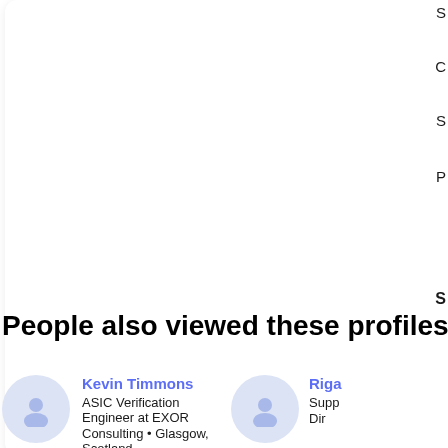[Figure (screenshot): White card / panel UI element with rounded corners and subtle shadow, partially visible, occupying the upper-left portion of the page]
S
C
S
P
S
People also viewed these profiles
Kevin Timmons
ASIC Verification Engineer at EXOR Consulting • Glasgow, Scotland
Riga
Supp
Dir